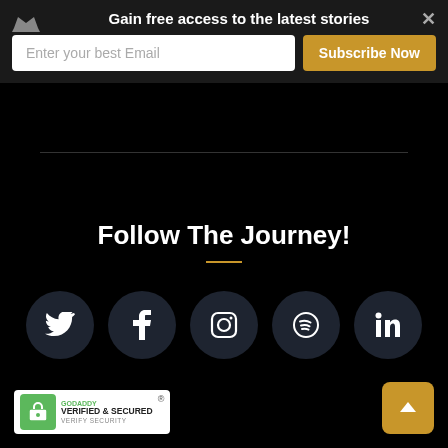Gain free access to the latest stories
Enter your best Email
Subscribe Now
Follow The Journey!
[Figure (illustration): Row of five social media icon circles: Twitter, Facebook, Instagram, Spotify, LinkedIn]
[Figure (logo): GoDaddy Verified & Secured badge with lock icon and 'VERIFY SECURITY' text]